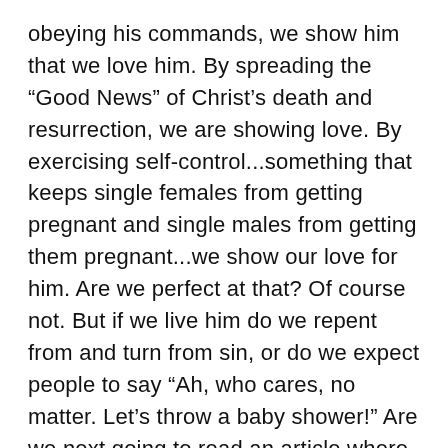obeying his commands, we show him that we love him. By spreading the “Good News” of Christ’s death and resurrection, we are showing love. By exercising self-control...something that keeps single females from getting pregnant and single males from getting them pregnant...we show our love for him. Are we perfect at that? Of course not. But if we live him do we repent from and turn from sin, or do we expect people to say “Ah, who cares, no matter. Let’s throw a baby shower!” Are we next going to read an article where Christians with gambling addictions really aren’t sinning ? Maybe pornography...an adulterous sin like unwedded sex... isn’t as bad as we all thought it was?
People need to know they are loved, yes. But if a person is walking in the faith, the MOST important thing is that they know they are loved by their Creator. Sending a message that people who sin should be cleared of any